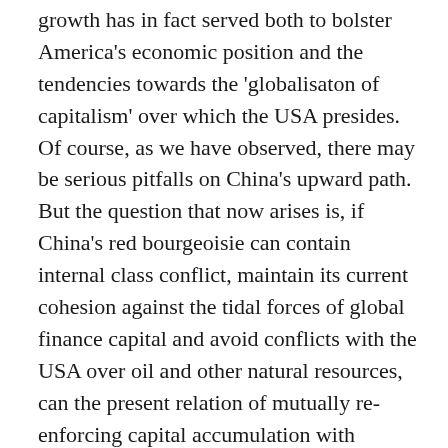growth has in fact served both to bolster America's economic position and the tendencies towards the 'globalisaton of capitalism' over which the USA presides. Of course, as we have observed, there may be serious pitfalls on China's upward path. But the question that now arises is, if China's red bourgeoisie can contain internal class conflict, maintain its current cohesion against the tidal forces of global finance capital and avoid conflicts with the USA over oil and other natural resources, can the present relation of mutually re-enforcing capital accumulation with America be sustained? Is it possible for China's economy to continue to simply and smoothly expand at its current breakneck pace until it overtakes Germany, Japan and eventually the USA to become the world's economic superpower? The answer is: most certainly not!